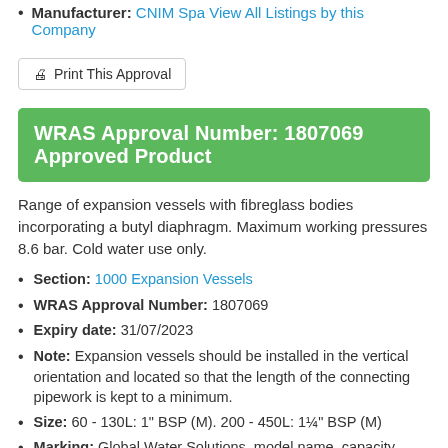Manufacturer: CNIM Spa View All Listings by this Company
Print This Approval
WRAS Approval Number: 1807069 Approved Product
Range of expansion vessels with fibreglass bodies incorporating a butyl diaphragm. Maximum working pressures 8.6 bar. Cold water use only.
Section: 1000 Expansion Vessels
WRAS Approval Number: 1807069
Expiry date: 31/07/2023
Note: Expansion vessels should be installed in the vertical orientation and located so that the length of the connecting pipework is kept to a minimum.
Size: 60 - 130L: 1" BSP (M). 200 - 450L: 1¼" BSP (M)
Marking: Global Water Solutions, model name, capacity, date of manufacture (Month, Year) & technical Info on adhesive label on body.
Installation Requirements R001